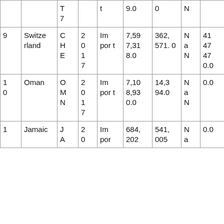|  |  | T
7 |  | t | 9.0 | 0 | N |  |  |
| 9 | Switze rland | C
H
E | 2
0
1
7 | Im por t | 7,59 7,31 8.0 | 362, 571. 0 | N a N | 41 47 47 0.0 | 20. 95 |
| 1 0 | Oman | O
M
N | 2
0
1
7 | Im por t | 7,10 8,93 0.0 | 14,3 94.0 | N a N | 0.0 | 49 3.8 8 |
| 1 | Jamaic | J
A | 2
0 | Im por | 684, 202 | 541, 005 | N a | 0.0 | 1.2 |